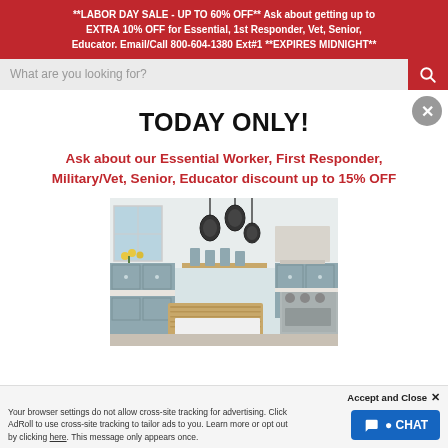**LABOR DAY SALE - UP TO 60% OFF** Ask about getting up to EXTRA 10% OFF for Essential, 1st Responder, Vet, Senior, Educator. Email/Call 800-604-1380 Ext#1 **EXPIRES MIDNIGHT**
What are you looking for?
TODAY ONLY!
Ask about our Essential Worker, First Responder, Military/Vet, Senior, Educator discount up to 15% OFF
[Figure (photo): Kitchen interior with light blue-gray cabinets, white countertops, a butcher block island, industrial pendant lights, and a window with yellow flowers]
Accept and Close ✕
Your browser settings do not allow cross-site tracking for advertising. Click here to allow AdRoll to use cross-site tracking to tailor ads to you. Learn more or opt out of this tracking by clicking here. This message only appears once.